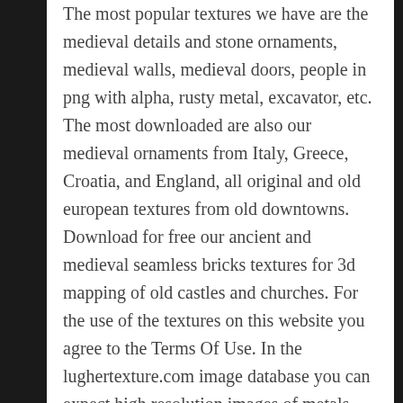The most popular textures we have are the medieval details and stone ornaments, medieval walls, medieval doors, people in png with alpha, rusty metal, excavator, etc. The most downloaded are also our medieval ornaments from Italy, Greece, Croatia, and England, all original and old european textures from old downtowns. Download for free our ancient and medieval seamless bricks textures for 3d mapping of old castles and churches. For the use of the textures on this website you agree to the Terms Of Use. In the lughertexture.com image database you can expect high resolution images of metals, floors, skin, wood, rock, walls etc. Mostly photographic textures.( texturas, texturen, texture) Our texture license can be used in your personal/commercial works. The size of the textures range goes from 2600x1920 to 3560x2520. Most of our images are raw unprocessed. This is done deliberately. We could never determine what textures are useful or not for your projects. All textures are in jpg or jpeg format. We rescale all the textures perspective in photoshop, is a good way to make